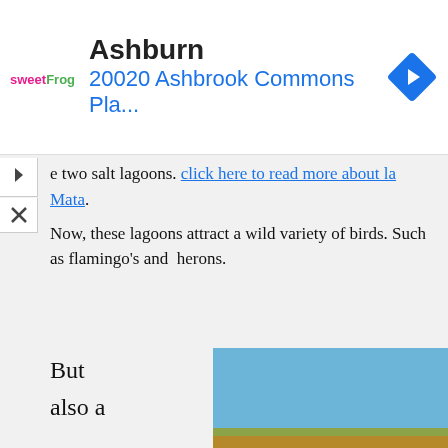[Figure (screenshot): Advertisement banner: sweetFrog logo on left, 'Ashburn' in bold black, '20020 Ashbrook Commons Pla...' in blue, and a blue diamond navigation icon on the right.]
e two salt lagoons. click here to read more about la Mata.
Now, these lagoons attract a wild variety of birds. Such as flamingo's and herons.
But also a nice quieter suburb of the
[Figure (photo): Photo of flamingos wading in a blue lagoon with vegetation and rocky terrain in the background under a blue sky.]